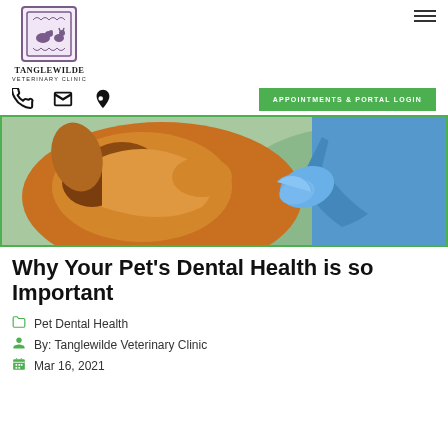TangleWilde Veterinary Clinic — navigation header with logo, hamburger menu, phone, email, location icons, and APPOINTMENTS & PORTAL LOGIN button
[Figure (photo): Close-up photo of a dog being examined or groomed by a person in blue scrubs/gloves, showing the dog's fur and the person's hands and arm]
Why Your Pet's Dental Health is so Important
Pet Dental Health
By: Tanglewilde Veterinary Clinic
Mar 16, 2021